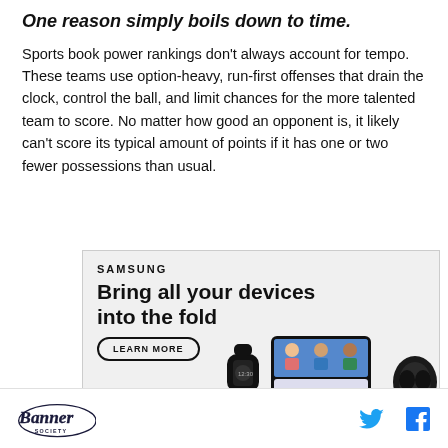One reason simply boils down to time.
Sports book power rankings don’t always account for tempo. These teams use option-heavy, run-first offenses that drain the clock, control the ball, and limit chances for the more talented team to score. No matter how good an opponent is, it likely can’t score its typical amount of points if it has one or two fewer possessions than usual.
[Figure (infographic): Samsung advertisement with headline 'Bring all your devices into the fold', a Learn More button, and images of Samsung Galaxy devices including a foldable phone, smartwatch, and earbuds.]
Banner Society logo with Twitter and Facebook icons